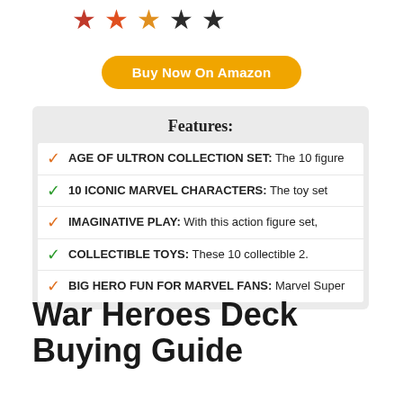[Figure (other): Star rating icons (colored stars in red, orange, yellow, green, dark) shown at the top of the page]
Buy Now On Amazon
Features:
AGE OF ULTRON COLLECTION SET: The 10 figure
10 ICONIC MARVEL CHARACTERS: The toy set
IMAGINATIVE PLAY: With this action figure set,
COLLECTIBLE TOYS: These 10 collectible 2.
BIG HERO FUN FOR MARVEL FANS: Marvel Super
War Heroes Deck Buying Guide